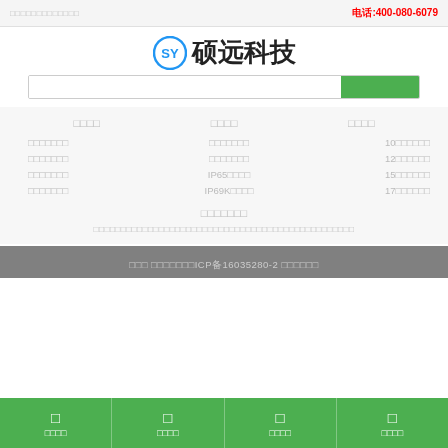硕远科技官方网站 | 电话: 400-080-6079
硕远科技
[Figure (logo): SY logo icon in blue circle with S and Y letters]
搜索框 + 搜索按钮
产品分类
防护等级
尺寸规格
工业平板电脑
嵌入式工控机
触摸屏显示器
工业显示终端
前面板防水
全封闭防水
IP65防护等级
IP69K防护等级
10寸工业平板
12寸工业平板
15寸工业平板
17寸工业平板
行业应用
化工行业/煤矿行业/冶金行业/电力行业/汽车制造/食品行业/智能交通/石油化工
版权所有 硕远科技 | ICP备16035280-2 | 关于我们
首页 | 产品中心 | 新闻资讯 | 联系我们